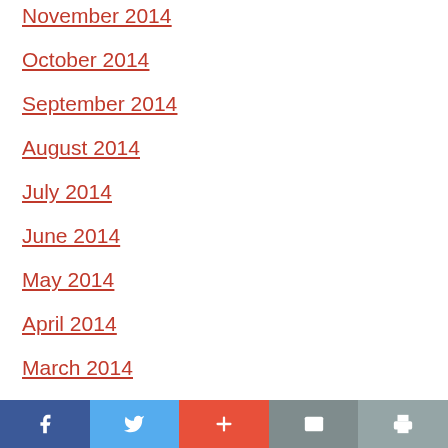November 2014
October 2014
September 2014
August 2014
July 2014
June 2014
May 2014
April 2014
March 2014
February 2014
Facebook Twitter + Mail Print